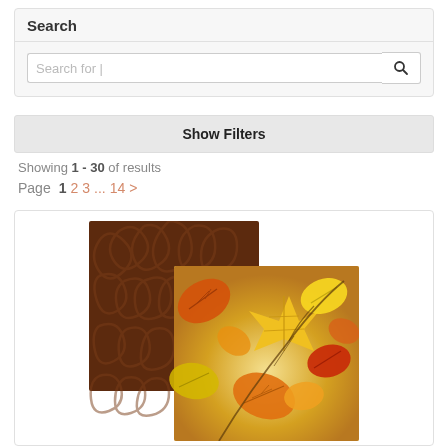Search
Search for |
Show Filters
Showing 1 - 30 of results
Page  1  2  3 ... 14  >
[Figure (photo): Two overlapping fabric swatches: a dark brown swirling texture fabric behind an autumn leaves pattern fabric in yellow, orange and red tones]